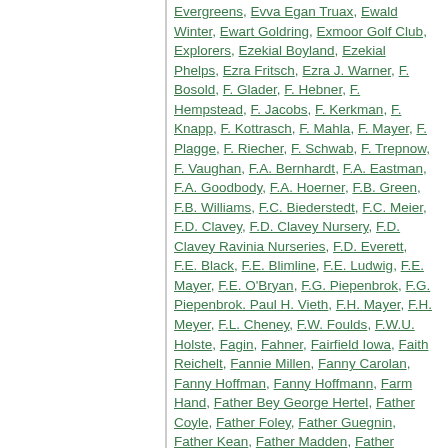Evergreens, Evva Egan Truax, Ewald Winter, Ewart Goldring, Exmoor Golf Club, Explorers, Ezekial Boyland, Ezekial Phelps, Ezra Fritsch, Ezra J. Warner, F. Bosold, F. Glader, F. Hebner, F. Hempstead, F. Jacobs, F. Kerkman, F. Knapp, F. Kottrasch, F. Mahla, F. Mayer, F. Plagge, F. Riecher, F. Schwab, F. Trepnow, F. Vaughan, F.A. Bernhardt, F.A. Eastman, F.A. Goodbody, F.A. Hoerner, F.B. Green, F.B. Williams, F.C. Biederstedt, F.C. Meier, F.D. Clavey, F.D. Clavey Nursery, F.D. Clavey Ravinia Nurseries, F.D. Everett, F.E. Black, F.E. Blimline, F.E. Ludwig, F.E. Mayer, F.E. O'Bryan, F.G. Piepenbrok, F.G. Piepenbrok. Paul H. Vieth, F.H. Mayer, F.H. Meyer, F.L. Cheney, F.W. Foulds, F.W.U. Holste, Fagin, Fahner, Fairfield Iowa, Faith Reichelt, Fannie Millen, Fanny Carolan, Fanny Hoffman, Fanny Hoffmann, Farm Hand, Father Bey George Hertel, Father Coyle, Father Foley, Father Guegnin, Father Kean, Father Madden, Father Magee, Father Marquette, Father McElherne, Father McGorisk, Father McGovern, Father O'Reilly, Father Ryan, Fay Mills, Fayette Monroe, Federal Money, Federal Telephone Call Tax, Federated Churches, Fehr's Music Shop, Ferdinand Holste, Ferdinand Trute, Ferns, Ferrara of Milan, Ferry Hubbard, Fife,